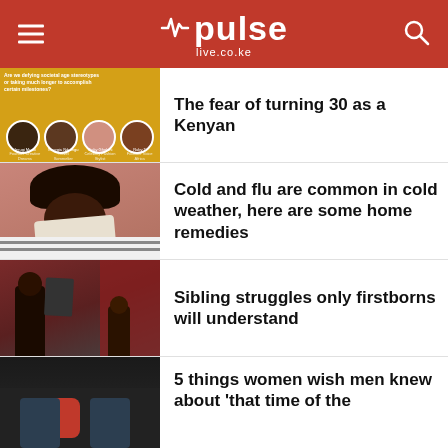pulse live.co.ke
[Figure (screenshot): Thumbnail: Yellow background with four diverse faces - article about age stereotypes]
The fear of turning 30 as a Kenyan
[Figure (photo): Thumbnail: Woman sneezing/blowing her nose into tissue, mauve/pink background]
Cold and flu are common in cold weather, here are some home remedies
[Figure (photo): Thumbnail: Two people, one holding clothes up to the other in a barn-red setting]
Sibling struggles only firstborns will understand
[Figure (photo): Thumbnail: Woman sitting on floor, dark background, appears to be holding a hot water bottle]
5 things women wish men knew about 'that time of the